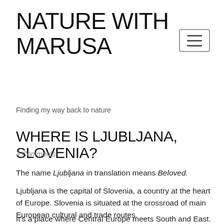NATURE WITH MARUSA
[Figure (other): Hamburger menu button icon with three horizontal bars inside a rounded rectangle border]
Finding my way back to nature
WHERE IS LJUBLJANA, SLOVENIA?
4 Comments
The name Ljubljana in translation means Beloved.
Ljubljana is the capital of Slovenia, a country at the heart of Europe. Slovenia is situated at the crossroad of main European cultural and trade routes.
It's a place where Central Europe meets South and East. The